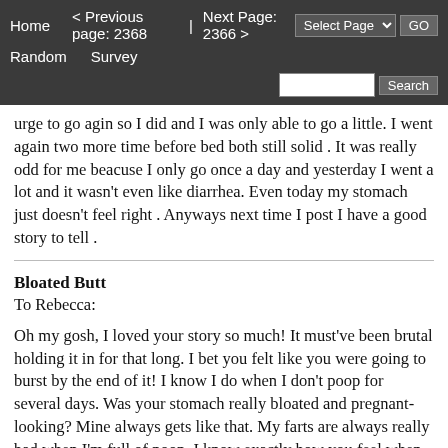Home  < Previous page: 2368  |  Next Page: 2366 >  Random  Survey  Select Page  GO  Search
urge to go agin so I did and I was only able to go a little. I went again two more time before bed both still solid . It was really odd for me beacuse I only go once a day and yesterday I went a lot and it wasn't even like diarrhea. Even today my stomach just doesn't feel right . Anyways next time I post I have a good story to tell .
Bloated Butt
To Rebecca:

Oh my gosh, I loved your story so much! It must've been brutal holding it in for that long. I bet you felt like you were going to burst by the end of it! I know I do when I don't poop for several days. Was your stomach really bloated and pregnant-looking? Mine always gets like that. My farts are always really bad when I'm full of poop. I know exactly how you feel when you finally pooped, too. Did you make a lot of noise when you